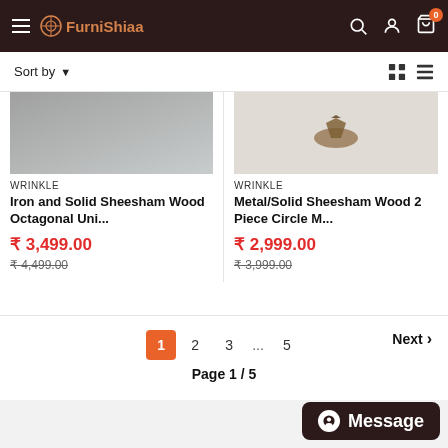FurniShiaa
Sort by
[Figure (photo): Product image - Iron and Solid Sheesham Wood Octagonal item, gray stone/marble texture visible]
WRINKLE
Iron and Solid Sheesham Wood Octagonal Uni...
₹ 3,499.00
₹ 4,499.00
[Figure (photo): Product image - Metal/Solid Sheesham Wood 2 Piece Circle item, wooden piece visible]
WRINKLE
Metal/Solid Sheesham Wood 2 Piece Circle M...
₹ 2,999.00
₹ 3,999.00
1 2 3 ... 5  Next  Page 1 / 5